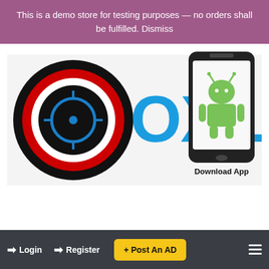This is a demo store for testing purposes — no orders shall be fulfilled. Dismiss
[Figure (logo): OXLeads logo with target/crosshair icon on the left and 'OXLeads' in blue text, partially obscured by an Android phone graphic showing the Android mascot. Below the phone: 'Download App' text.]
Login   Register   + Post An AD   [menu]